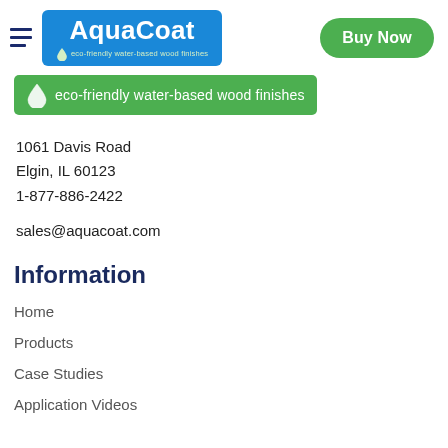[Figure (logo): AquaCoat logo with blue background, water drop icon and tagline 'eco-friendly water-based wood finishes', plus green 'Buy Now' button in top-right]
[Figure (logo): Green banner with water drop icon and text 'eco-friendly water-based wood finishes']
1061 Davis Road
Elgin, IL 60123
1-877-886-2422
sales@aquacoat.com
Information
Home
Products
Case Studies
Application Videos